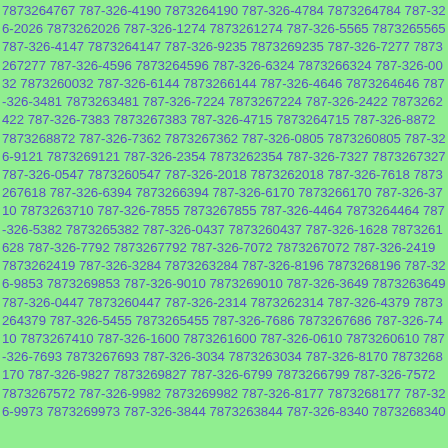7873264767 787-326-4190 7873264190 787-326-4784 7873264784 787-326-2026 7873262026 787-326-1274 7873261274 787-326-5565 7873265565 787-326-4147 7873264147 787-326-9235 7873269235 787-326-7277 7873267277 787-326-4596 7873264596 787-326-6324 7873266324 787-326-0032 7873260032 787-326-6144 7873266144 787-326-4646 7873264646 787-326-3481 7873263481 787-326-7224 7873267224 787-326-2422 7873262422 787-326-7383 7873267383 787-326-4715 7873264715 787-326-8872 7873268872 787-326-7362 7873267362 787-326-0805 7873260805 787-326-9121 7873269121 787-326-2354 7873262354 787-326-7327 7873267327 787-326-0547 7873260547 787-326-2018 7873262018 787-326-7618 7873267618 787-326-6394 7873266394 787-326-6170 7873266170 787-326-3710 7873263710 787-326-7855 7873267855 787-326-4464 7873264464 787-326-5382 7873265382 787-326-0437 7873260437 787-326-1628 7873261628 787-326-7792 7873267792 787-326-7072 7873267072 787-326-2419 7873262419 787-326-3284 7873263284 787-326-8196 7873268196 787-326-9853 7873269853 787-326-9010 7873269010 787-326-3649 7873263649 787-326-0447 7873260447 787-326-2314 7873262314 787-326-4379 7873264379 787-326-5455 7873265455 787-326-7686 7873267686 787-326-7410 7873267410 787-326-1600 7873261600 787-326-0610 7873260610 787-326-7693 7873267693 787-326-3034 7873263034 787-326-8170 7873268170 787-326-9827 7873269827 787-326-6799 7873266799 787-326-7572 7873267572 787-326-9982 7873269982 787-326-8177 7873268177 787-326-9973 7873269973 787-326-3844 7873263844 787-326-8340 7873268340